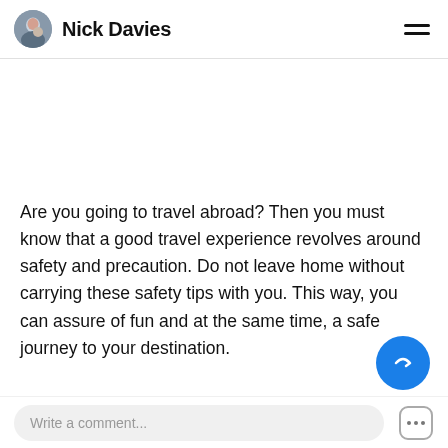Nick Davies
Are you going to travel abroad? Then you must know that a good travel experience revolves around safety and precaution. Do not leave home without carrying these safety tips with you. This way, you can assure of fun and at the same time, a safe journey to your destination.
Write a comment...